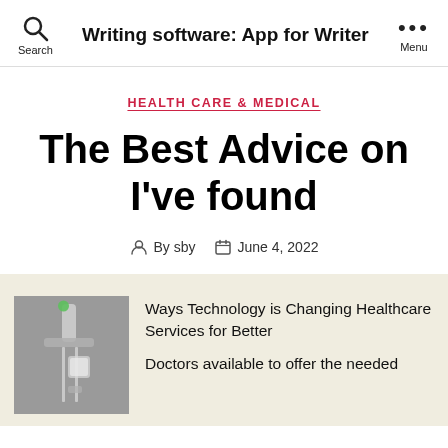Writing software: App for Writer
HEALTH CARE & MEDICAL
The Best Advice on I've found
By sby   June 4, 2022
[Figure (photo): Medical IV drip tubing and bag on a gray background]
Ways Technology is Changing Healthcare Services for Better
Doctors available to offer the needed